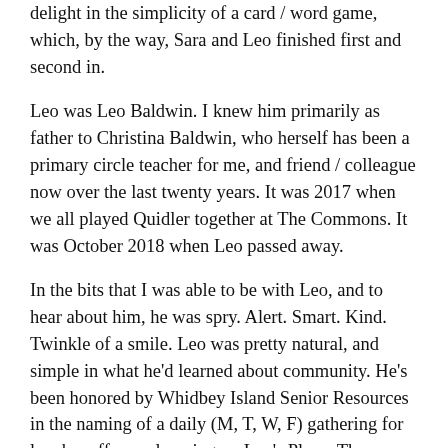delight in the simplicity of a card / word game, which, by the way, Sara and Leo finished first and second in.
Leo was Leo Baldwin. I knew him primarily as father to Christina Baldwin, who herself has been a primary circle teacher for me, and friend / colleague now over the last twenty years. It was 2017 when we all played Quidler together at The Commons. It was October 2018 when Leo passed away.
In the bits that I was able to be with Leo, and to hear about him, he was spry. Alert. Smart. Kind. Twinkle of a smile. Leo was pretty natural, and simple in what he'd learned about community. He's been honored by Whidbey Island Senior Resources in the naming of a daily (M, T, W, F) gathering for lunch, coffee, or learning — Leo's Place. There are a few principles that Leo named in his latter years that were about creating village and connecting community.